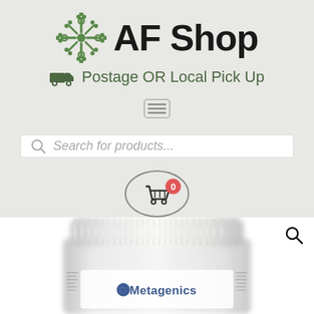[Figure (logo): AF Shop logo with green decorative flower/snowflake SVG icon and bold text 'AF Shop']
Postage OR Local Pick Up
[Figure (other): Hamburger menu icon (three horizontal lines)]
[Figure (other): Search bar with magnifying glass icon and italic placeholder text 'Search for products...']
[Figure (other): Shopping cart icon inside oval border with red badge showing '0']
[Figure (photo): Close-up photo of a white Metagenics supplement container/jar showing the brand name]